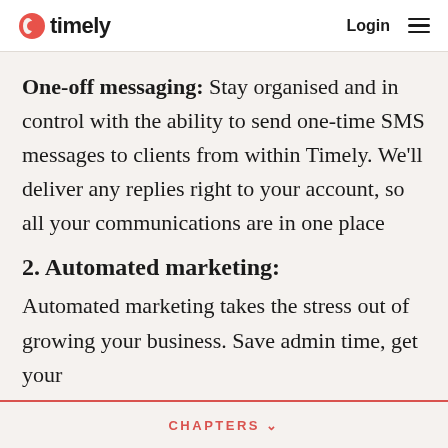timely | Login
One-off messaging: Stay organised and in control with the ability to send one-time SMS messages to clients from within Timely. We’ll deliver any replies right to your account, so all your communications are in one place
2. Automated marketing:
Automated marketing takes the stress out of growing your business. Save admin time, get your
CHAPTERS